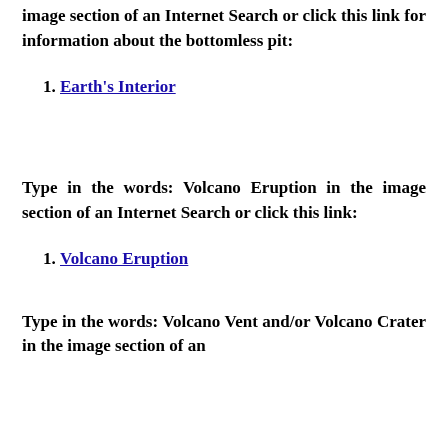image section of an Internet Search or click this link for information about the bottomless pit:
Earth’s Interior
Type in the words: Volcano Eruption in the image section of an Internet Search or click this link:
Volcano Eruption
Type in the words: Volcano Vent and/or Volcano Crater in the image section of an